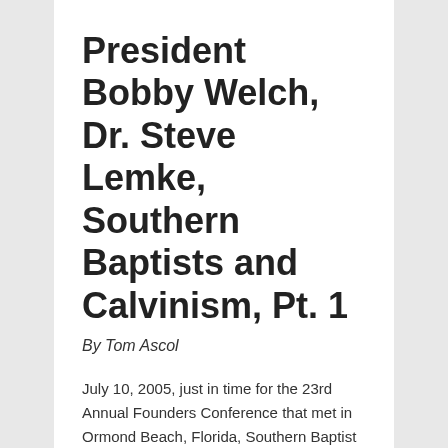President Bobby Welch, Dr. Steve Lemke, Southern Baptists and Calvinism, Pt. 1
By Tom Ascol
July 10, 2005, just in time for the 23rd Annual Founders Conference that met in Ormond Beach, Florida, Southern Baptist Convention President, Bobby Welch posted an article in the newsletter of the First Baptist Church of Daytona, where he serves as pastor. The title of his article is “Calvinism and Christ’s Great Commission.” Here is how the article begins: